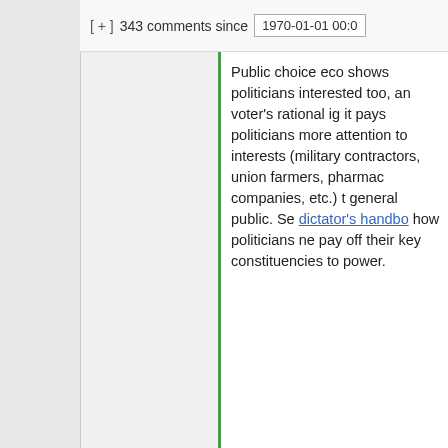[ + ]  343 comments since  1970-01-01 00:0
Public choice eco shows politicians interested too, an voter's rational ig it pays politicians more attention to interests (military contractors, union farmers, pharmac companies, etc.) t general public. Se dictator's handbo how politicians ne pay off their key constituencies to power.